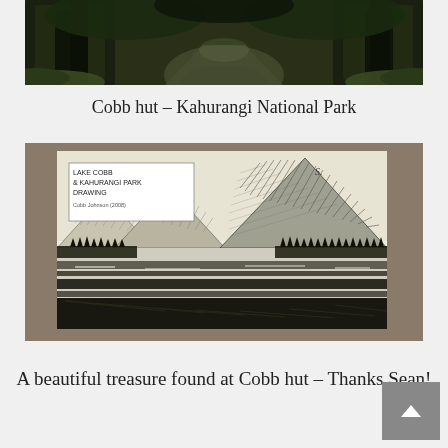[Figure (photo): Photo of a forest path or trail entrance with green moss-covered trees and rocks, dark shadowy pathway between large tree trunks]
Cobb hut – Kahurangi National Park
[Figure (illustration): A pencil/pen sketch drawing of Lake Cobb and Kahurangi National Park mountains, showing steep mountain peaks with cross-hatched shading, a lake in the foreground with dark reflections, and pine trees along the shoreline. A handwritten label in upper left reads 'Lake Cobb & Kahurangi Park Drawing' with additional text below. A signature appears in upper right.]
A beautiful treasure found at Cobb hut – Thanks Sean!